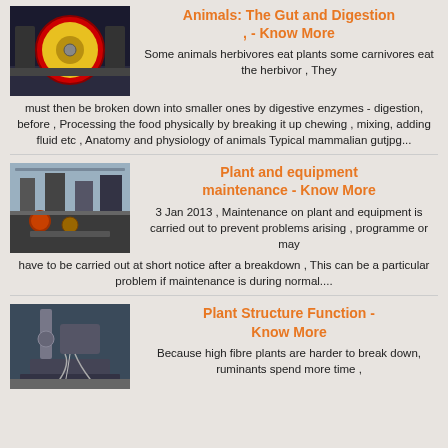[Figure (photo): Industrial drum or roller machine, circular with yellow disc center and red border, dark industrial background]
Animals: The Gut and Digestion , - Know More
Some animals herbivores eat plants some carnivores eat the herbivor , They must then be broken down into smaller ones by digestive enzymes - digestion, before , Processing the food physically by breaking it up chewing , mixing, adding fluid etc , Anatomy and physiology of animals Typical mammalian gutjpg...
[Figure (photo): Factory floor with heavy industrial machinery, plant and equipment in a workshop setting]
Plant and equipment maintenance - Know More
3 Jan 2013 , Maintenance on plant and equipment is carried out to prevent problems arising , programme or may have to be carried out at short notice after a breakdown , This can be a particular problem if maintenance is during normal....
[Figure (photo): Industrial machine with metal shavings, plant structure machinery]
Plant Structure Function - Know More
Because high fibre plants are harder to break down, ruminants spend more time ,